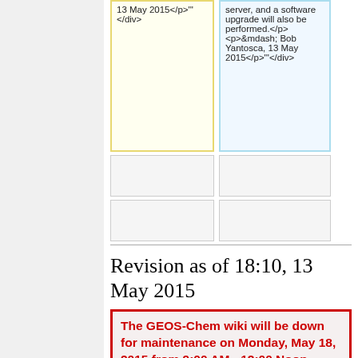13 May 2015</p>'"</div>
server, and a software upgrade will also be performed.</p><p>&mdash; Bob Yantosca, 13 May 2015</p>'"</div>
Revision as of 18:10, 13 May 2015
The GEOS-Chem wiki will be down for maintenance on Monday, May 18, 2015 from 9:00 AM - 12:00 Noon. During this time you will not be able to make any edits to